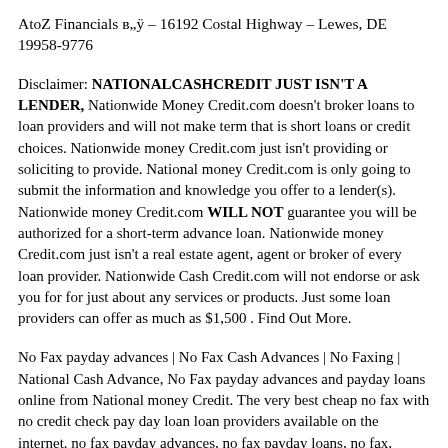AtoZ Financials в„ÿ – 16192 Costal Highway – Lewes, DE 19958-9776
Disclaimer: NATIONALCASHCREDIT JUST ISN'T A LENDER, Nationwide Money Credit.com doesn't broker loans to loan providers and will not make term that is short loans or credit choices. Nationwide money Credit.com just isn't providing or soliciting to provide. National money Credit.com is only going to submit the information and knowledge you offer to a lender(s). Nationwide money Credit.com WILL NOT guarantee you will be authorized for a short-term advance loan. Nationwide money Credit.com just isn't a real estate agent, agent or broker of every loan provider. Nationwide Cash Credit.com will not endorse or ask you for for just about any services or products. Just some loan providers can offer as much as $1,500 . Find Out More.
No Fax payday advances | No Fax Cash Advances | No Faxing | National Cash Advance, No Fax payday advances and payday loans online from National money Credit. The very best cheap no fax with no credit check pay day loan loan providers available on the internet. no fax payday advances, no fax payday loans, no fax, payday advances, online loans, nationwide money credit, money credit, nationwide advance loan, unsecured loan, western union advance loan, fast 500 money loans, $500 no fax loans, economic safety, online loan, personal financing, nationwide loan providers,